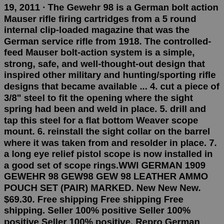19, 2011 · The Gewehr 98 is a German bolt action Mauser rifle firing cartridges from a 5 round internal clip-loaded magazine that was the German service rifle from 1918. The controlled-feed Mauser bolt-action system is a simple, strong, safe, and well-thought-out design that inspired other military and hunting/sporting rifle designs that became available ... 4. cut a piece of 3/8" steel to fit the opening where the sight spring had been and weld in place. 5. drill and tap this steel for a flat bottom Weaver scope mount. 6. reinstall the sight collar on the barrel where it was taken from and resolder in place. 7. a long eye relief pistol scope is now installed in a good set of scope rings.WWI GERMAN 1909 GEWEHR 98 GEW98 GEW 98 LEATHER AMMO POUCH SET (PAIR) MARKED. New New New. $69.30. Free shipping Free shipping Free shipping. Seller 100% positive Seller 100% positive Seller 100% positive. Repro German WWI Gewehr 98 Brown Leather Ammunition Pouch, GEW 98, G98. New New New. $39.99.The Gewehr 98 is a German bolt action rifle that fires a 5 round